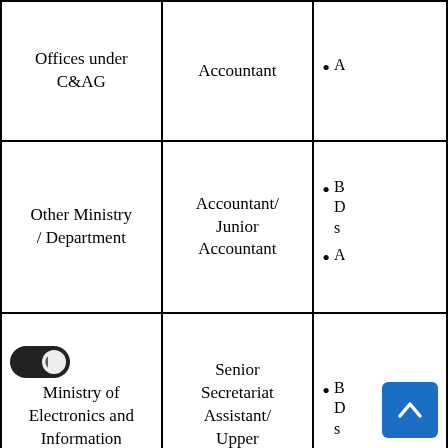| Organization | Post | Details |
| --- | --- | --- |
| Offices under C&AG | Accountant | •  A... |
| Other Ministry / Department | Accountant/ Junior Accountant | • B...
• A... |
| Ministry of Electronics and Information Technology | Senior Secretariat Assistant/ Upper Division Clerks | • B...
• A... |
| Central Govt. Offices/ Ministries | Senior Secretariat Assistant/ | • B... |